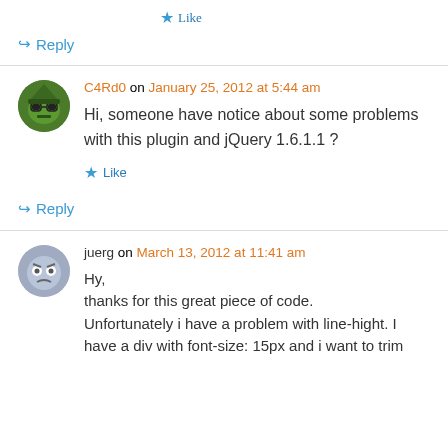★ Like
↪ Reply
C4Rd0 on January 25, 2012 at 5:44 am
Hi, someone have notice about some problems with this plugin and jQuery 1.6.1.1 ?
★ Like
↪ Reply
juerg on March 13, 2012 at 11:41 am
Hy,
thanks for this great piece of code.
Unfortunately i have a problem with line-hight. I have a div with font-size: 15px and i want to trim